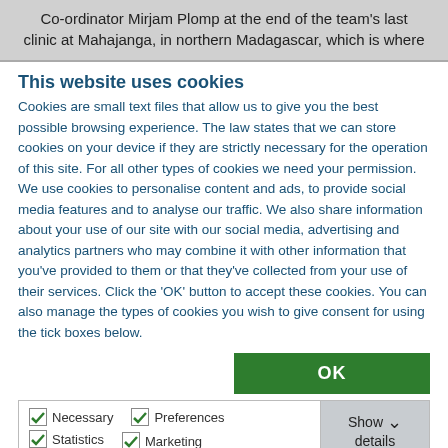Co-ordinator Mirjam Plomp at the end of the team's last clinic at Mahajanga, in northern Madagascar, which is where
This website uses cookies
Cookies are small text files that allow us to give you the best possible browsing experience. The law states that we can store cookies on your device if they are strictly necessary for the operation of this site. For all other types of cookies we need your permission. We use cookies to personalise content and ads, to provide social media features and to analyse our traffic. We also share information about your use of our site with our social media, advertising and analytics partners who may combine it with other information that you've provided to them or that they've collected from your use of their services. Click the 'OK' button to accept these cookies. You can also manage the types of cookies you wish to give consent for using the tick boxes below.
OK
Necessary  Preferences  Statistics  Marketing  Show details